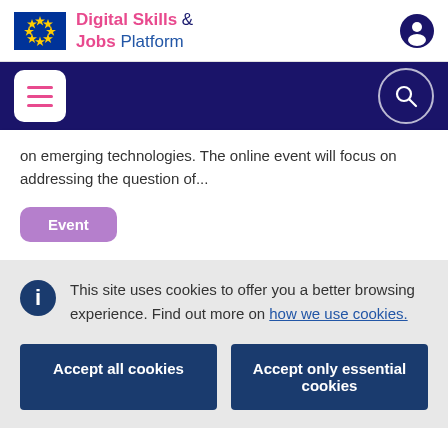Digital Skills & Jobs Platform
on emerging technologies. The online event will focus on addressing the question of...
Event
This site uses cookies to offer you a better browsing experience. Find out more on how we use cookies.
Accept all cookies
Accept only essential cookies